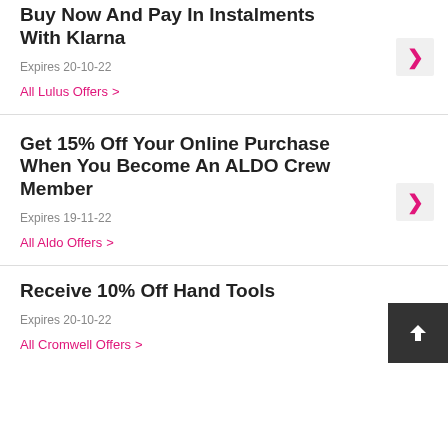Buy Now And Pay In Instalments With Klarna
Expires 20-10-22
All Lulus Offers >
Get 15% Off Your Online Purchase When You Become An ALDO Crew Member
Expires 19-11-22
All Aldo Offers >
Receive 10% Off Hand Tools
Expires 20-10-22
All Cromwell Offers >